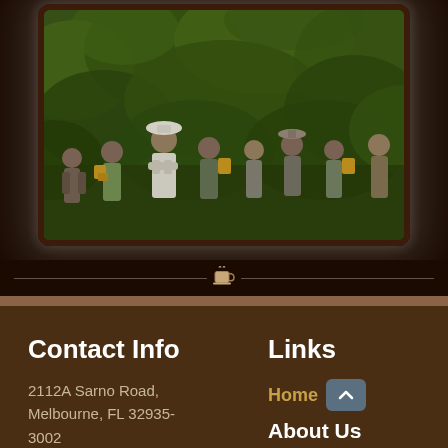[Figure (photo): Group of coffee farm workers/pickers standing among lush green coffee plants on a hillside, some holding yellow buckets. A man in a white hat stands centrally with arms crossed.]
Contact Info
Links
2112A Sarno Road, Melbourne, FL 32935-3002
Home
About Us